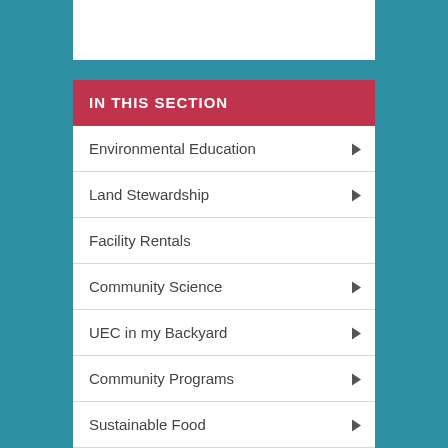IN THIS SECTION
Environmental Education
Land Stewardship
Facility Rentals
Community Science
UEC in my Backyard
Community Programs
Sustainable Food
Eco-travel
Birthday Parties
Urban Ecology Center Institute